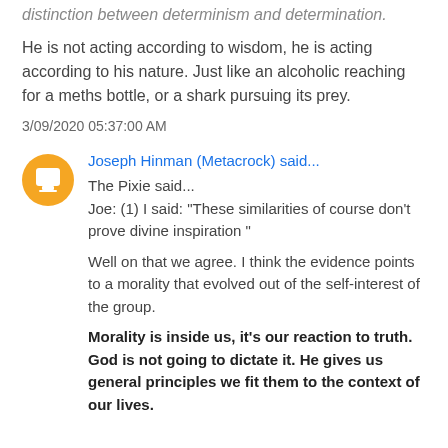distinction between determinism and determination.
He is not acting according to wisdom, he is acting according to his nature. Just like an alcoholic reaching for a meths bottle, or a shark pursuing its prey.
3/09/2020 05:37:00 AM
Joseph Hinman (Metacrock) said...
The Pixie said...
Joe: (1) I said: "These similarities of course don't prove divine inspiration "
Well on that we agree. I think the evidence points to a morality that evolved out of the self-interest of the group.
Morality is inside us, it's our reaction to truth. God is not going to dictate it. He gives us general principles we fit them to the context of our lives.